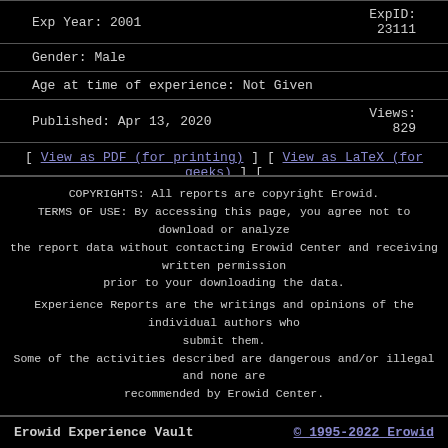Exp Year: 2001   ExpID: 23111
Gender: Male
Age at time of experience: Not Given
Published: Apr 13, 2020   Views: 829
[ View as PDF (for printing) ] [ View as LaTeX (for geeks) ] [ Switch Colors ]
Dimenhydrinate (17) : Addiction & Habituation (10), Depression (15), Post Trip Problems (8), Retrospective / Summary (11), Not Applicable (38)
COPYRIGHTS: All reports are copyright Erowid. TERMS OF USE: By accessing this page, you agree not to download or analyze the report data without contacting Erowid Center and receiving written permission prior to your downloading the data. Experience Reports are the writings and opinions of the individual authors who submit them. Some of the activities described are dangerous and/or illegal and none are recommended by Erowid Center.
Erowid Experience Vault   © 1995-2022 Erowid